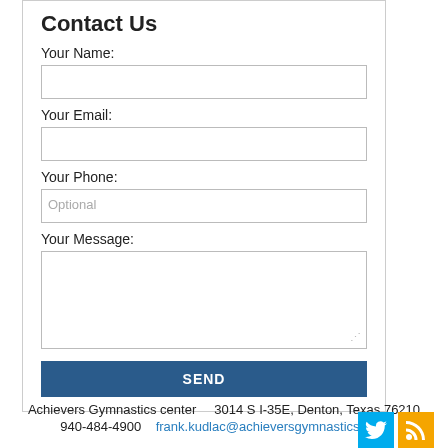Contact Us
Your Name:
Your Email:
Your Phone:
Your Message:
Achievers Gymnastics center    3014 S I-35E, Denton, Texas 76210    940-484-4900    frank.kudlac@achieversgymnastics.com